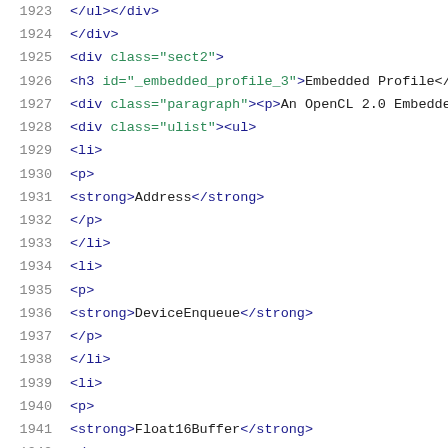1923  </ul></div>
1924  </div>
1925  <div class="sect2">
1926  <h3 id="_embedded_profile_3">Embedded Profile</
1927  <div class="paragraph"><p>An OpenCL 2.0 Embedde
1928  <div class="ulist"><ul>
1929  <li>
1930  <p>
1931  <strong>Address</strong>
1932  </p>
1933  </li>
1934  <li>
1935  <p>
1936  <strong>DeviceEnqueue</strong>
1937  </p>
1938  </li>
1939  <li>
1940  <p>
1941  <strong>Float16Buffer</strong>
1942  </p>
1943  </li>
1944  <li>